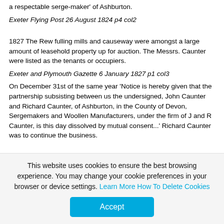a respectable serge-maker' of Ashburton.
Exeter Flying Post 26 August 1824 p4 col2
1827 The Rew fulling mills and causeway were amongst a large amount of leasehold property up for auction. The Messrs. Caunter were listed as the tenants or occupiers.
Exeter and Plymouth Gazette 6 January 1827 p1 col3
On December 31st of the same year 'Notice is hereby given that the partnership subsisting between us the undersigned, John Caunter and Richard Caunter, of Ashburton, in the County of Devon, Sergemakers and Woollen Manufacturers, under the firm of J and R Caunter, is this day dissolved by mutual consent...' Richard Caunter was to continue the business.
This website uses cookies to ensure the best browsing experience. You may change your cookie preferences in your browser or device settings. Learn More How To Delete Cookies
Accept